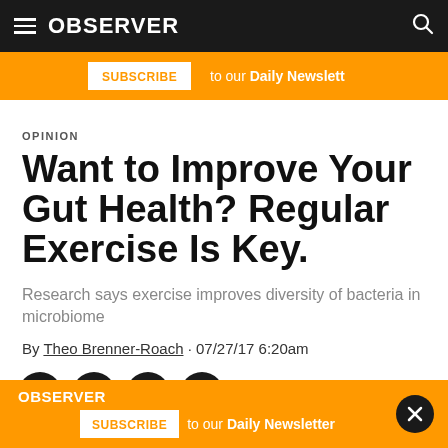OBSERVER
[Figure (infographic): Orange subscribe banner with white SUBSCRIBE button and 'to our Daily Newsletter' text]
OPINION
Want to Improve Your Gut Health? Regular Exercise Is Key.
Research says exercise improves diversity of bacteria in microbiome
By Theo Brenner-Roach · 07/27/17 6:20am
[Figure (infographic): Row of four circular social media icons: Facebook, Twitter, LinkedIn, Email]
[Figure (infographic): Bottom orange Observer subscribe banner with SUBSCRIBE button and close X button]